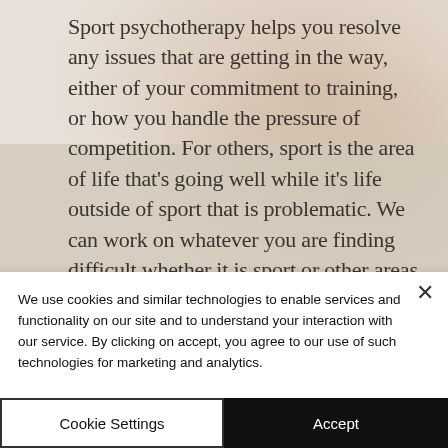[Figure (photo): Background photo of sports/athletic equipment (appears to show hands or athletic gear in warm muted tones) with overlaid text about sport psychotherapy]
Sport psychotherapy helps you resolve any issues that are getting in the way, either of your commitment to training, or how you handle the pressure of competition. For others, sport is the area of life that's going well while it's life outside of sport that is problematic. We can work on whatever you are finding difficult whether it is sport or other areas of life.
We use cookies and similar technologies to enable services and functionality on our site and to understand your interaction with our service. By clicking on accept, you agree to our use of such technologies for marketing and analytics.